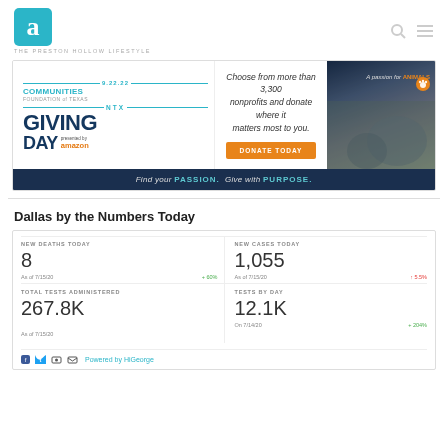[Figure (logo): Akin logo - teal square with 'a' letter and tagline THE PRESTON HOLLOW LIFESTYLE]
[Figure (infographic): NTX Giving Day 9.22.22 advertisement banner - Communities Foundation of Texas, choose from more than 3,300 nonprofits and donate where it matters most to you. DONATE TODAY. Find your PASSION. Give with PURPOSE. Presented by Amazon. A passion for ANIMALS.]
Dallas by the Numbers Today
| Metric | Value | Date | Change |
| --- | --- | --- | --- |
| NEW DEATHS TODAY | 8 | As of 7/15/20 | + 60% |
| NEW CASES TODAY | 1,055 | As of 7/15/20 | ↑ 5.5% |
| TOTAL TESTS ADMINISTERED | 267.8K | As of 7/15/20 |  |
| TESTS BY DAY | 12.1K | On 7/14/20 | + 204% |
Powered by HiGeorge